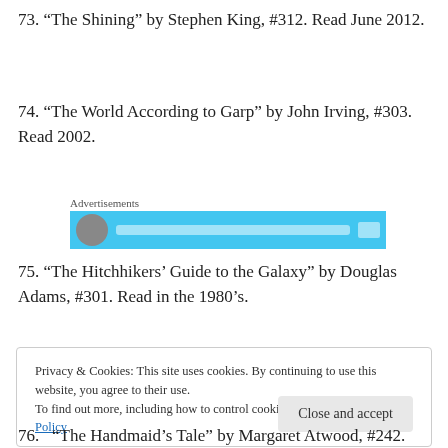73. “The Shining” by Stephen King, #312. Read June 2012.
74. “The World According to Garp” by John Irving, #303. Read 2002.
[Figure (other): Advertisement banner with Twitter-style blue background, avatar icon and partial text]
75. “The Hitchhikers’ Guide to the Galaxy” by Douglas Adams, #301. Read in the 1980’s.
Privacy & Cookies: This site uses cookies. By continuing to use this website, you agree to their use.
To find out more, including how to control cookies, see here: Cookie Policy
76. “The Handmaid’s Tale” by Margaret Atwood, #242.